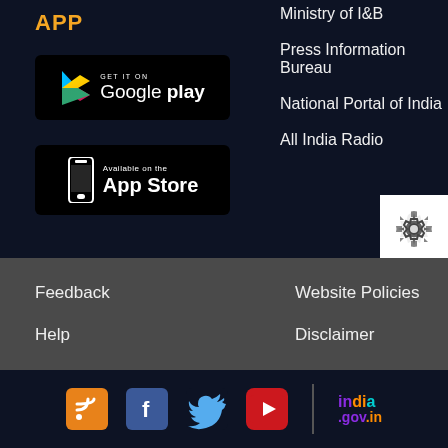APP
[Figure (logo): GET IT ON Google Play badge]
[Figure (logo): Available on the App Store badge]
Ministry of I&B
Press Information Bureau
National Portal of India
All India Radio
[Figure (illustration): Settings gear icon in white box]
Feedback
Help
Term & Condition
STB Dealers
Website Policies
Disclaimer
Sitemap
[Figure (infographic): Social media icons: RSS, Facebook, Twitter, YouTube, and india.gov.in logo]